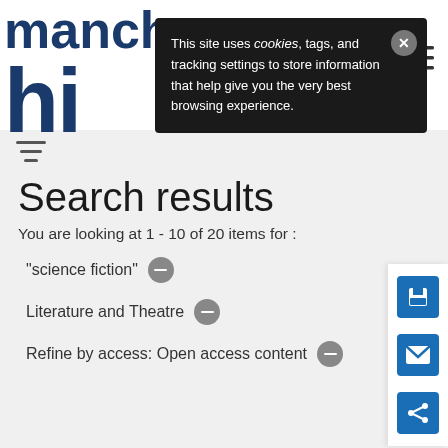manch hi
This site uses cookies, tags, and tracking settings to store information that help give you the very best browsing experience.
Search results
You are looking at 1 - 10 of 20 items for :
"science fiction" −
Literature and Theatre −
Refine by access: Open access content −